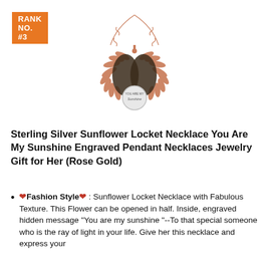RANK NO. #3
[Figure (photo): Rose gold sunflower locket necklace with chain, showing the open sunflower pendant with a small circular charm engraved with text]
Sterling Silver Sunflower Locket Necklace You Are My Sunshine Engraved Pendant Necklaces Jewelry Gift for Her (Rose Gold)
❤Fashion Style❤ : Sunflower Locket Necklace with Fabulous Texture. This Flower can be opened in half. Inside, engraved hidden message "You are my sunshine "--To that special someone who is the ray of light in your life. Give her this necklace and express your love sentiment.